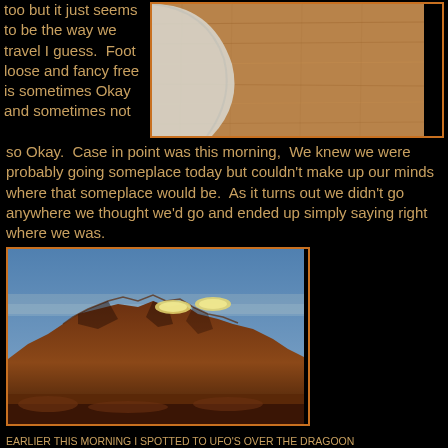too but it just seems to be the way we travel I guess.  Foot loose and fancy free is sometimes Okay and sometimes not so Okay.  Case in point was this morning,  We knew we were probably going someplace today but couldn't make up our minds where that someplace would be.  As it turns out we didn't go anywhere we thought we'd go and ended up simply saying right where we was.
[Figure (photo): Close-up photo of sandy/dirt surface with a white curved object edge visible]
[Figure (photo): Landscape photo of Dragoon Mountains at dusk/dawn with orange rocky ridgeline, blue sky, and two bright glowing spots above the mountains]
EARLIER THIS MORNING I SPOTTED TO UFO'S OVER THE DRAGOON MOUNTAINS........OKAY-OKAY SO THEY WERE JUST REFLECTIONS OF OUR OVER THE SINK KITCHEN LIGHTS
[Figure (photo): Partial view of bottom photo, content partially cut off]